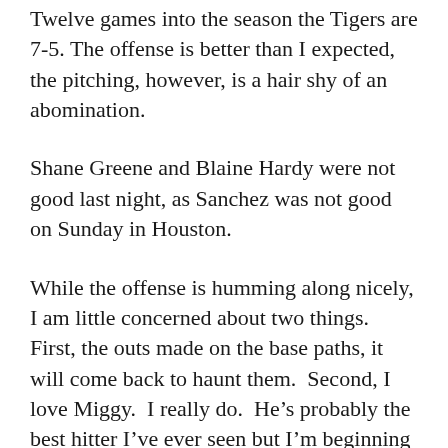Twelve games into the season the Tigers are 7-5. The offense is better than I expected, the pitching, however, is a hair shy of an abomination.
Shane Greene and Blaine Hardy were not good last night, as Sanchez was not good on Sunday in Houston.
While the offense is humming along nicely, I am little concerned about two things.  First, the outs made on the base paths, it will come back to haunt them.  Second, I love Miggy.  I really do.  He’s probably the best hitter I’ve ever seen but I’m beginning to wonder if he is on the downside of his career.  His bat looks slow and he didn’t look good against Herrera in big spot